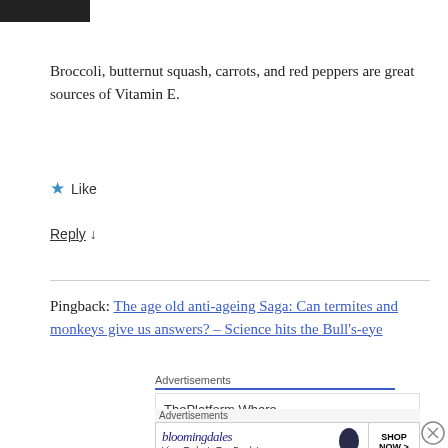[Figure (photo): Small dark avatar/profile image in top left corner]
Broccoli, butternut squash, carrots, and red peppers are great sources of Vitamin E.
★ Like
Reply ↓
Pingback: The age old anti-ageing Saga: Can termites and monkeys give us answers? – Science hits the Bull's-eye
[Figure (screenshot): Advertisement: ThePlatform Where WordPress Works Best – Pressable]
[Figure (screenshot): Advertisement: Bloomingdales – View Today's Top Deals! SHOP NOW >]